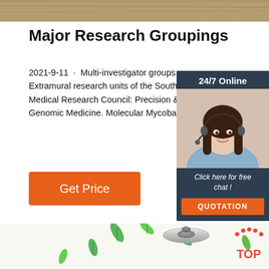[Figure (photo): Wooden surface background image at top of page]
Major Research Groupings
2021-9-11 · Multi-investigator groups. Extramural research units of the South Medical Research Council: Precision & Genomic Medicine. Molecular Mycoba
[Figure (photo): 24/7 Online customer service chat widget with photo of woman wearing headset, dark blue background, orange QUOTATION button]
Get Price
[Figure (photo): Bottom section showing green leaves and stainless steel pot lid with TOP logo]